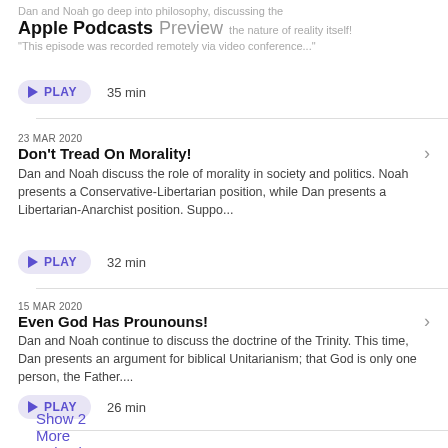Apple Podcasts Preview
Dan and Noah go deep into philosophy, discussing the nature of reality itself!
This episode was recorded remotely via video conference...
PLAY  35 min
23 MAR 2020
Don't Tread On Morality!
Dan and Noah discuss the role of morality in society and politics. Noah presents a Conservative-Libertarian position, while Dan presents a Libertarian-Anarchist position. Suppo...
PLAY  32 min
15 MAR 2020
Even God Has Prounouns!
Dan and Noah continue to discuss the doctrine of the Trinity. This time, Dan presents an argument for biblical Unitarianism; that God is only one person, the Father....
PLAY  26 min
Show 2 More Episodes